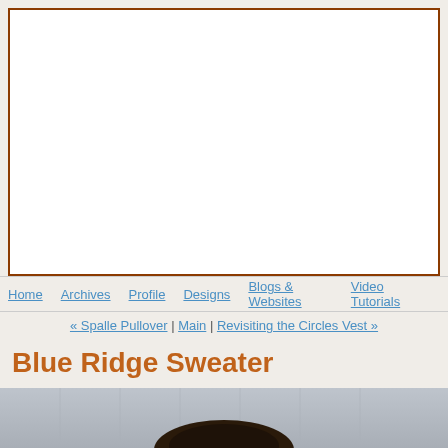[Figure (other): White rectangular banner/header area with brown border, appears to be a blog header image placeholder]
Home | Archives | Profile | Designs | Blogs & Websites | Video Tutorials
« Spalle Pullover | Main | Revisiting the Circles Vest »
Blue Ridge Sweater
[Figure (photo): Photo of a person with dark hair, cropped, showing top of head against a grey/blue textured background]